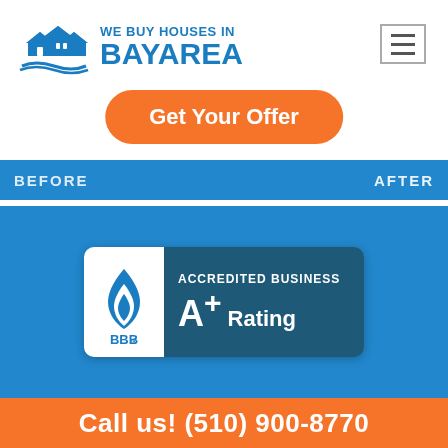[Figure (logo): We Buy Houses in Bay Area logo with house icon and blue text]
[Figure (other): Hamburger/menu icon button in top right]
Get Your Offer
[Figure (photo): Before and After house renovation strip banner]
[Figure (logo): BBB Accredited Business A+ Rating badge]
Call us! (510) 900-8770